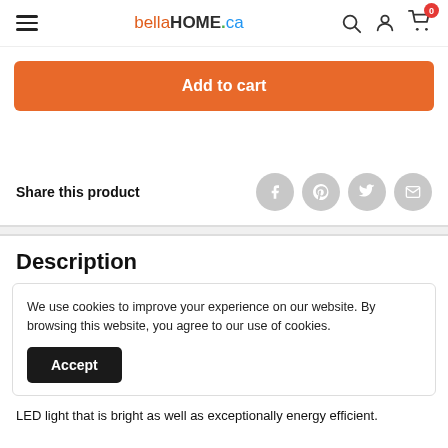bellaHOME.ca
Add to cart
Share this product
Description
We use cookies to improve your experience on our website. By browsing this website, you agree to our use of cookies.
Accept
LED light that is bright as well as exceptionally energy efficient.